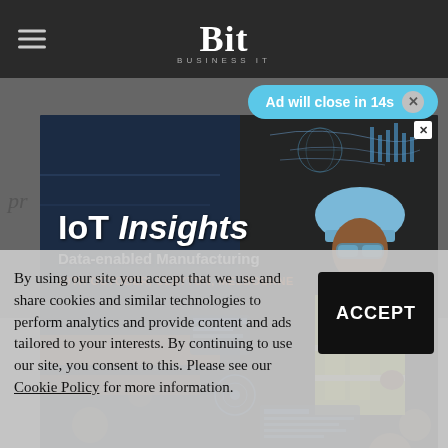Bit Business IT
Ad will close in 14s
[Figure (photo): IoT Insights advertisement showing a woman in a hard hat and yellow safety vest in an industrial setting with digital overlay graphics. Text reads: IoT Insights, Data-enabled Manufacturing, 20TH OCTOBER, CLAYTON, MELBOURNE]
By using our site you accept that we use and share cookies and similar technologies to perform analytics and provide content and ads tailored to your interests. By continuing to use our site, you consent to this. Please see our Cookie Policy for more information.